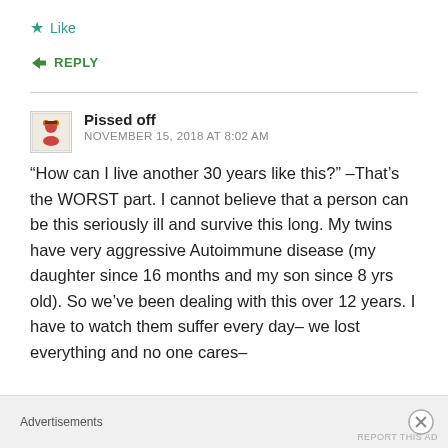Like
REPLY
Pissed off
NOVEMBER 15, 2018 AT 8:02 AM
“How can I live another 30 years like this?” –That’s the WORST part. I cannot believe that a person can be this seriously ill and survive this long. My twins have very aggressive Autoimmune disease (my daughter since 16 months and my son since 8 yrs old). So we’ve been dealing with this over 12 years. I have to watch them suffer every day– we lost everything and no one cares–
Advertisements